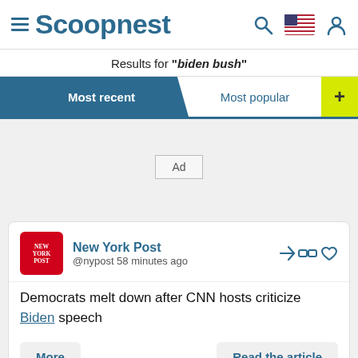Scoopnest
Results for "biden bush"
Most recent | Most popular
[Figure (other): Ad placeholder box]
New York Post @nypost 58 minutes ago
Democrats melt down after CNN hosts criticize Biden speech
More | Read the article